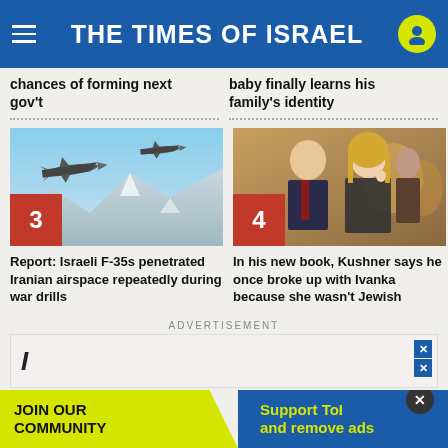THE TIMES OF ISRAEL
chances of forming next gov't
baby finally learns his family's identity
[Figure (photo): Two Israeli F-35 fighter jets flying over snowy mountains]
Report: Israeli F-35s penetrated Iranian airspace repeatedly during war drills
[Figure (photo): Jared Kushner and Ivanka Trump at a formal event]
In his new book, Kushner says he once broke up with Ivanka because she wasn't Jewish
ADVERTISEMENT
JOIN OUR COMMUNITY
Support ToI and remove ads